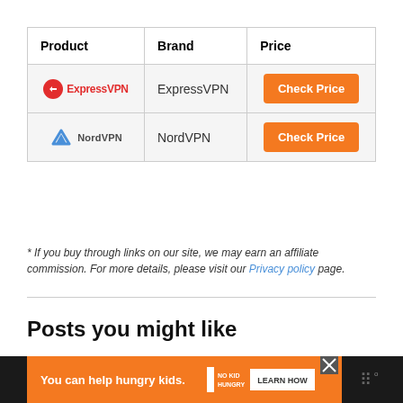| Product | Brand | Price |
| --- | --- | --- |
| [ExpressVPN logo] | ExpressVPN | Check Price |
| [NordVPN logo] | NordVPN | Check Price |
* If you buy through links on our site, we may earn an affiliate commission. For more details, please visit our Privacy policy page.
Posts you might like
[Figure (logo): Google Chrome icon]
[Figure (infographic): Ad banner: 'You can help hungry kids.' No Kid Hungry. LEARN HOW button. Close button. Publisher logo on dark background.]